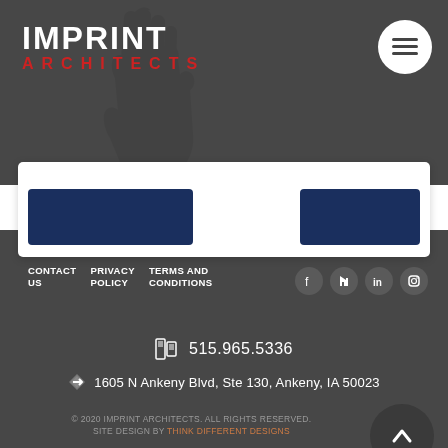[Figure (logo): Imprint Architects logo with hand silhouette watermark. IMPRINT in white bold text, ARCHITECTS in red spaced text below.]
[Figure (other): White circular menu button with three horizontal lines (hamburger icon)]
[Figure (other): Partial view of two dark navy buttons at bottom of a white card]
CONTACT US   PRIVACY POLICY   TERMS AND CONDITIONS   [Facebook] [Houzz] [LinkedIn] [Instagram]   515.965.5336   1605 N Ankeny Blvd, Ste 130, Ankeny, IA 50023   © 2020 IMPRINT ARCHITECTS. ALL RIGHTS RESERVED. SITE DESIGN BY THINK DIFFERENT DESIGNS